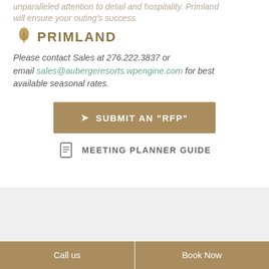unparalleled attention to detail and hospitality. Primland will ensure your outing's success.
[Figure (logo): Primland logo with leaf icon and text PRIMLAND]
Please contact Sales at 276.222.3837 or email sales@aubergeresorts.wpengine.com for best available seasonal rates.
SUBMIT AN "RFP"
MEETING PLANNER GUIDE
Call us | Book Now